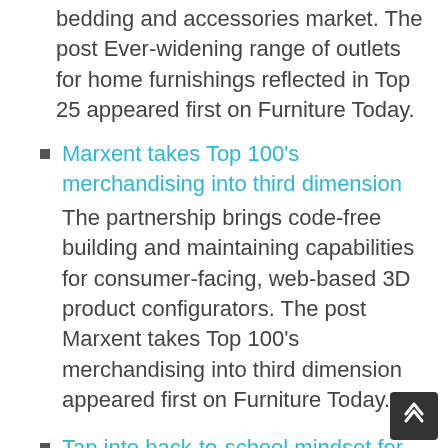bedding and accessories market. The post Ever-widening range of outlets for home furnishings reflected in Top 25 appeared first on Furniture Today.
Marxent takes Top 100's merchandising into third dimension — The partnership brings code-free building and maintaining capabilities for consumer-facing, web-based 3D product configurators. The post Marxent takes Top 100's merchandising into third dimension appeared first on Furniture Today.
Tap into back-to-school mindset for shopping parents | Sheila Long O'Mara — It's back-to-school season, and while the backpacks may not matter to